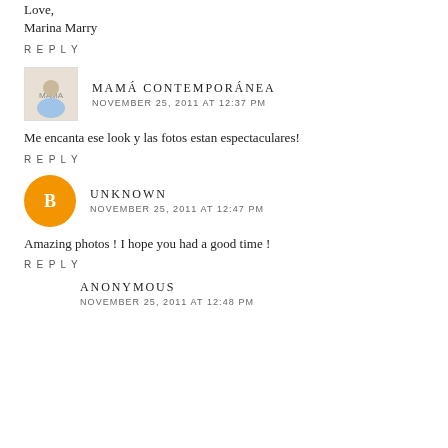Love,
Marina Marry
REPLY
MAMÁ CONTEMPORÁNEA
NOVEMBER 25, 2011 AT 12:37 PM
Me encanta ese look y las fotos estan espectaculares!
REPLY
UNKNOWN
NOVEMBER 25, 2011 AT 12:47 PM
Amazing photos ! I hope you had a good time !
REPLY
ANONYMOUS
NOVEMBER 25, 2011 AT 12:48 PM